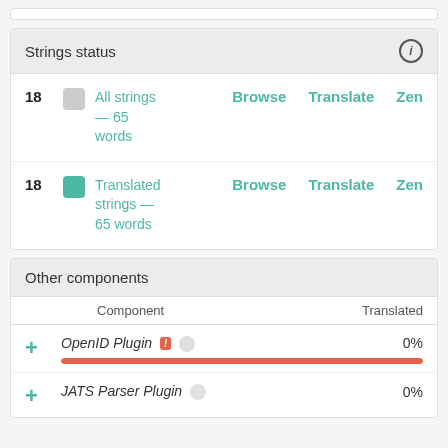Strings status
| Count | Icon | Label | Browse | Translate | Zen |
| --- | --- | --- | --- | --- | --- |
| 18 | gray | All strings — 65 words | Browse | Translate | Zen |
| 18 | teal | Translated strings — 65 words | Browse | Translate | Zen |
Other components
|  | Component | Translated |
| --- | --- | --- |
| + | OpenID Plugin | 0% |
| + | JATS Parser Plugin | 0% |